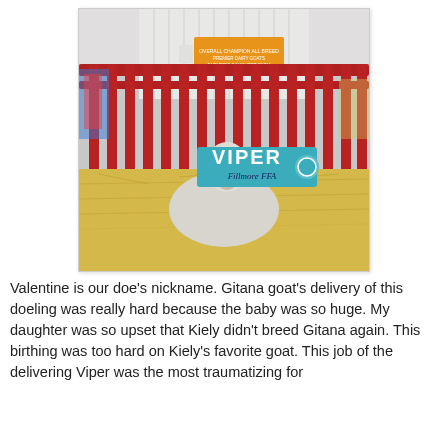[Figure (photo): A goat in a red metal pen/stall at what appears to be a livestock fair or exhibition. A teal blue name sign reading 'VIPER' in large white bold letters hangs on the pen. Below 'VIPER' the sign reads 'Fillmore FFA' in script. The goat is white/grey, surrounded by yellow straw bedding. Red metal bars make up the pen. In the background there is an orange award ribbon or placard. The setting appears to be an indoor livestock arena.]
Valentine is our doe's nickname. Gitana goat's delivery of this doeling was really hard because the baby was so huge. My daughter was so upset that Kiely didn't breed Gitana again. This birthing was too hard on Kiely's favorite goat. This job of the delivering Viper was the most traumatizing for